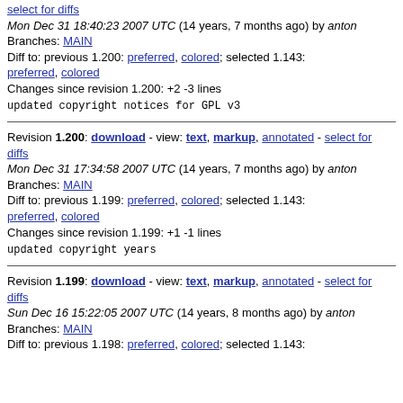select for diffs
Mon Dec 31 18:40:23 2007 UTC (14 years, 7 months ago) by anton
Branches: MAIN
Diff to: previous 1.200: preferred, colored; selected 1.143: preferred, colored
Changes since revision 1.200: +2 -3 lines
updated copyright notices for GPL v3
Revision 1.200: download - view: text, markup, annotated - select for diffs
Mon Dec 31 17:34:58 2007 UTC (14 years, 7 months ago) by anton
Branches: MAIN
Diff to: previous 1.199: preferred, colored; selected 1.143: preferred, colored
Changes since revision 1.199: +1 -1 lines
updated copyright years
Revision 1.199: download - view: text, markup, annotated - select for diffs
Sun Dec 16 15:22:05 2007 UTC (14 years, 8 months ago) by anton
Branches: MAIN
Diff to: previous 1.198: preferred, colored; selected 1.143: